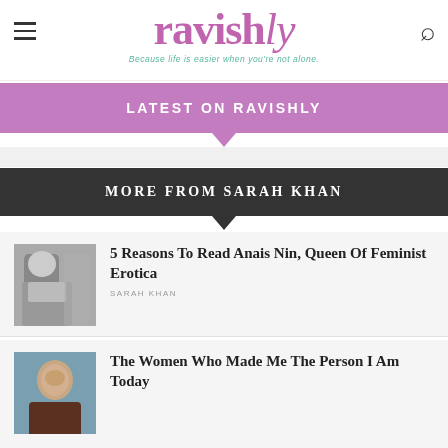ravishly — Because life is easier when you're not alone.
LATEST ON RAVISHLY
MORE FROM SARAH KHAN
5 Reasons To Read Anais Nin, Queen Of Feminist Erotica
SARAH KHAN
The Women Who Made Me The Person I Am Today